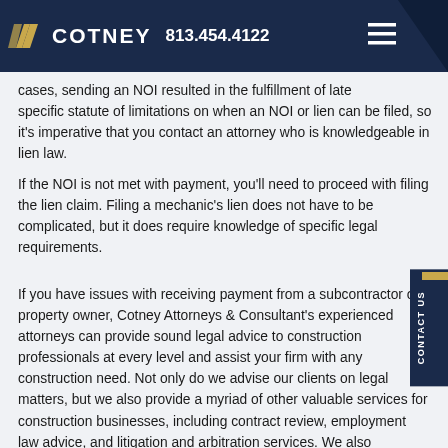COTNEY | 813.454.4122
cases, sending an NOI resulted in the fulfillment of late specific statute of limitations on when an NOI or lien can be filed, so it's imperative that you contact an attorney who is knowledgeable in lien law.
If the NOI is not met with payment, you'll need to proceed with filing the lien claim. Filing a mechanic's lien does not have to be complicated, but it does require knowledge of specific legal requirements.
If you have issues with receiving payment from a subcontractor or property owner, Cotney Attorneys & Consultant's experienced attorneys can provide sound legal advice to construction professionals at every level and assist your firm with any construction need. Not only do we advise our clients on legal matters, but we also provide a myriad of other valuable services for construction businesses, including contract review, employment law advice, and litigation and arbitration services. We also advocate for clients involved in licensing complaints, permitting issues, stop-work orders, business immigration, and more.